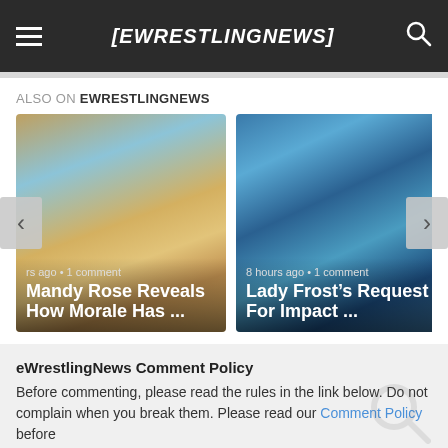EWRESTLINGNEWS
ALSO ON EWRESTLINGNEWS
[Figure (photo): Carousel card: Mandy Rose photo with text 'rs ago • 1 comment' and title 'Mandy Rose Reveals How Morale Has ...']
[Figure (photo): Carousel card: Lady Frost photo with text '8 hours ago • 1 comment' and title 'Lady Frost’s Request For Impact ...']
eWrestlingNews Comment Policy
Before commenting, please read the rules in the link below. Do not complain when you break them. Please read our Comment Policy before.